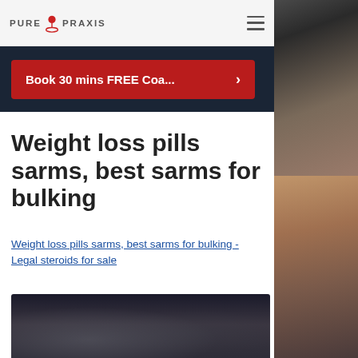PURE PRAXIS
Book 30 mins FREE Coa... >
Weight loss pills sarms, best sarms for bulking
Weight loss pills sarms, best sarms for bulking - Legal steroids for sale
[Figure (photo): Blurred dark image, likely showing supplement products or gym-related items]